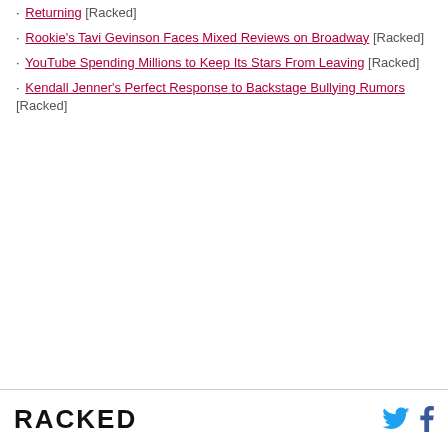· Returning [Racked]
· Rookie's Tavi Gevinson Faces Mixed Reviews on Broadway [Racked]
· YouTube Spending Millions to Keep Its Stars From Leaving [Racked]
· Kendall Jenner's Perfect Response to Backstage Bullying Rumors [Racked]
RACKED